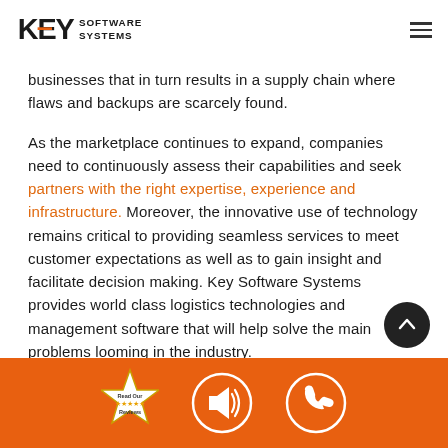KEY SOFTWARE SYSTEMS
businesses that in turn results in a supply chain where flaws and backups are scarcely found.
As the marketplace continues to expand, companies need to continuously assess their capabilities and seek partners with the right expertise, experience and infrastructure. Moreover, the innovative use of technology remains critical to providing seamless services to meet customer expectations as well as to gain insight and facilitate decision making. Key Software Systems provides world class logistics technologies and management software that will help solve the main problems looming in the industry.
[Figure (other): Orange footer bar with Read Our Reviews badge, megaphone icon circle, and phone icon circle]